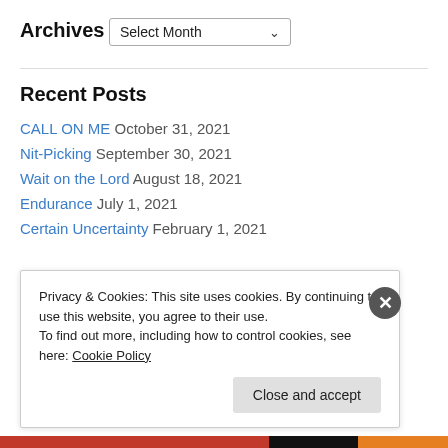Archives
Select Month
Recent Posts
CALL ON ME October 31, 2021
Nit-Picking September 30, 2021
Wait on the Lord August 18, 2021
Endurance July 1, 2021
Certain Uncertainty February 1, 2021
Privacy & Cookies: This site uses cookies. By continuing to use this website, you agree to their use. To find out more, including how to control cookies, see here: Cookie Policy
Close and accept